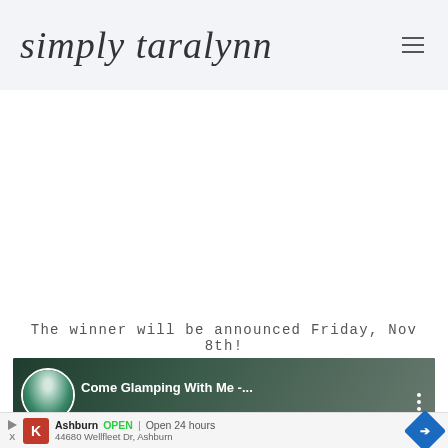simply taralynn
The winner will be announced Friday, Nov 8th!
[Figure (screenshot): Video thumbnail showing 'Come Glamping With Me -...' with a circular avatar of a woman in a white dress against a dark forest background, with a three-dot menu icon on the right]
[Figure (screenshot): Advertisement banner showing Kumon logo, 'Ashburn OPEN | Open 24 hours', '44680 Wellfleet Dr, Ashburn', with a blue diamond-shaped navigation arrow on the right, a play/ad icon on the left, and an X close button]